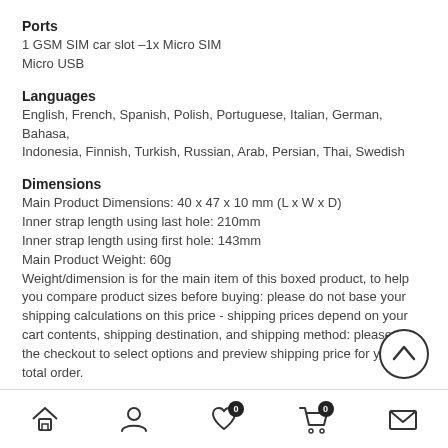Ports
1 GSM SIM car slot –1x Micro SIM
Micro USB
Languages
English, French, Spanish, Polish, Portuguese, Italian, German, Bahasa, Indonesia, Finnish, Turkish, Russian, Arab, Persian, Thai, Swedish
Dimensions
Main Product Dimensions: 40 x 47 x 10 mm (L x W x D)
Inner strap length using last hole: 210mm
Inner strap length using first hole: 143mm
Main Product Weight: 60g
Weight/dimension is for the main item of this boxed product, to help you compare product sizes before buying: please do not base your shipping calculations on this price - shipping prices depend on your cart contents, shipping destination, and shipping method: please use the checkout to select options and preview shipping price for your total order.
Product Notes
Battery: Built in
Package Contents
Smart Watch
[Figure (illustration): Navigation bar with home, user, heart (badge 0), cart (badge 0), and mail icons, plus a scroll-to-top chevron button]